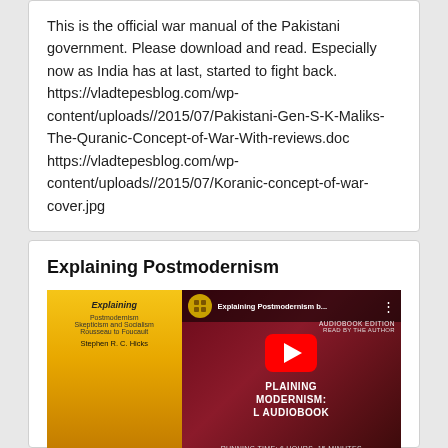This is the official war manual of the Pakistani government. Please download and read. Especially now as India has at last, started to fight back. https://vladtepesblog.com/wp-content/uploads//2015/07/Pakistani-Gen-S-K-Maliks-The-Quranic-Concept-of-War-With-reviews.doc https://vladtepesblog.com/wp-content/uploads//2015/07/Koranic-concept-of-war-cover.jpg
Explaining Postmodernism
[Figure (screenshot): YouTube video thumbnail for 'Explaining Postmodernism b...' showing a book cover on the left with a yellow/gold background and the title 'Explaining' with author Stephen R. C. Hicks, and on the right a dark red background with AUDIOBOOK EDITION, READ BY THE AUTHOR text, a red YouTube play button, and the text 'PLAINING MODERNISM: L AUDIOBOOK' with 'RUNNING TIME: 6 HOURS, 15 MINUTES' at the bottom.]